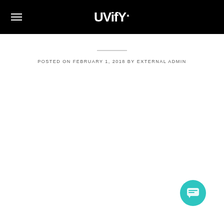UVify — navigation bar with hamburger menu and logo
POSTED ON FEBRUARY 1, 2018 BY EXTERNAL ADMIN
[Figure (other): Blue circle date badge showing 01 Feb]
[Figure (other): Chat popup widget with UVify logo, close button, and message: Got any questions? I'm happy to help.]
[Figure (other): Teal circular chat button with chat icon in bottom right corner]